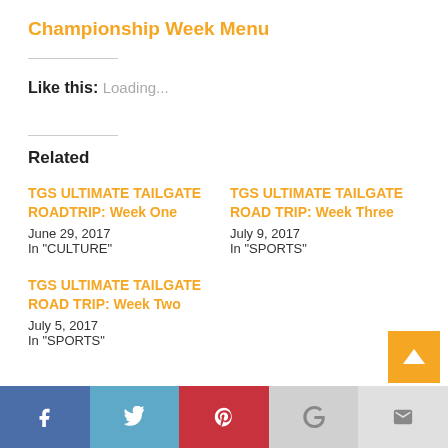Championship Week Menu
Like this:
Loading...
Related
TGS ULTIMATE TAILGATE ROADTRIP: Week One
June 29, 2017
In "CULTURE"
TGS ULTIMATE TAILGATE ROAD TRIP: Week Three
July 9, 2017
In "SPORTS"
TGS ULTIMATE TAILGATE ROAD TRIP: Week Two
July 5, 2017
In "SPORTS"